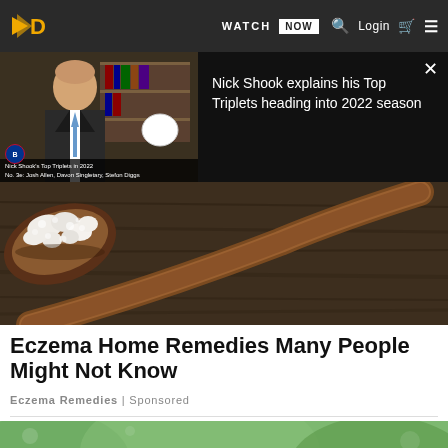Navigation bar with logo, WATCH NOW, search, Login, cart, menu
[Figure (screenshot): Video panel showing a man in a suit speaking, with text overlay 'Nick Shook explains his Top Triplets heading into 2022 season']
[Figure (photo): Close-up photo of a wooden spoon with white kefir grains on a dark wooden surface]
Eczema Home Remedies Many People Might Not Know
Eczema Remedies | Sponsored
[Figure (photo): Partial view of a person against a green background, bottom teaser image]